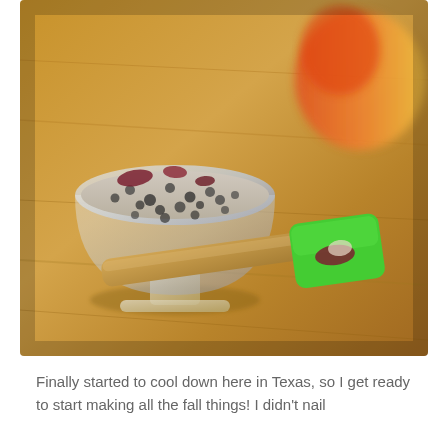[Figure (photo): Close-up food photography of a glass dessert bowl filled with chia seed pudding topped with dried fruit pieces, sitting on a wooden surface next to a green silicone spatula with a wooden handle holding a piece of dried fruit, and a red/orange apple in the background.]
Finally started to cool down here in Texas, so I get ready to start making all the fall things! I didn't nail